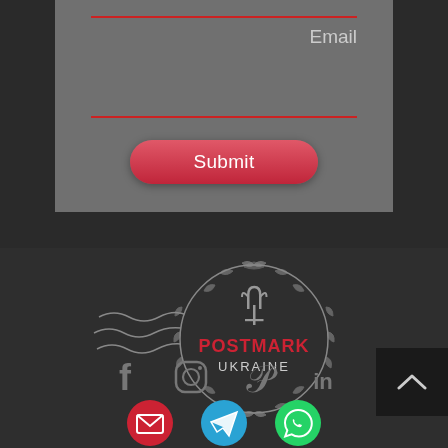Email
[Figure (illustration): Submit button - red rounded rectangle with white text 'Submit']
[Figure (logo): Postmark Ukraine stamp logo with Ukrainian trident, decorative circular border, wavy lines, text POSTMARK UKRAINE in red and white]
[Figure (infographic): Social media icons: Facebook, Instagram, Pinterest, LinkedIn (grey outline style), and three circular icons for Email (red), Telegram (blue), WhatsApp (green)]